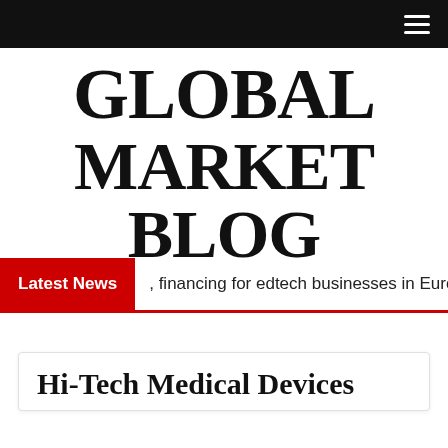☰
GLOBAL MARKET BLOG
Latest News  , financing for edtech businesses in Euro
Hi-Tech Medical Devices